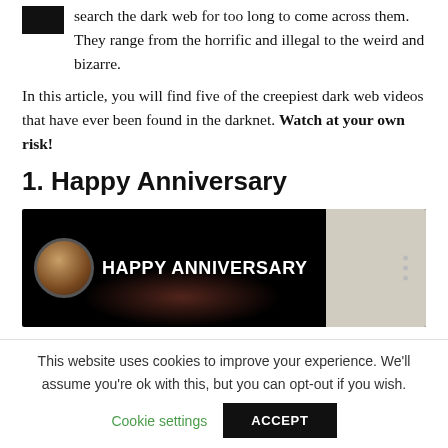search the dark web for too long to come across them. They range from the horrific and illegal to the weird and bizarre.
In this article, you will find five of the creepiest dark web videos that have ever been found in the darknet. Watch at your own risk!
1. Happy Anniversary
[Figure (screenshot): Video thumbnail for 'Happy Anniversary' showing a dark background with a circular avatar of a woman on the left, the title 'HAPPY ANNIVERSARY' in white bold text, three-dot menu icon, and a lighter panel on the right side.]
This website uses cookies to improve your experience. We'll assume you're ok with this, but you can opt-out if you wish.
Cookie settings   ACCEPT